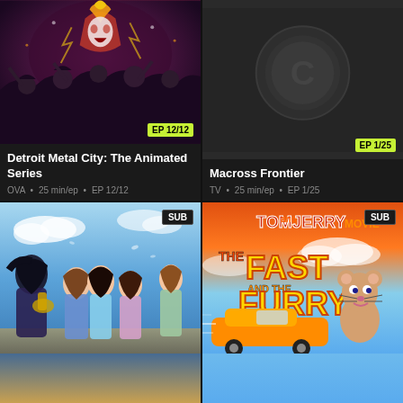[Figure (screenshot): Detroit Metal City: The Animated Series thumbnail showing anime characters, EP 12/12 badge, with title and metadata below: OVA · 25 min/ep · EP 12/12]
[Figure (screenshot): Macross Frontier thumbnail showing dark background with logo icon, EP 1/25 badge, with title and metadata below: TV · 25 min/ep · EP 1/25]
[Figure (screenshot): Bottom-left anime thumbnail with SUB badge showing anime girls with musical instruments in a sky/blue background]
[Figure (screenshot): Tom and Jerry Movie: The Fast and the Furry thumbnail with SUB badge showing cartoon cat on car with movie title text]